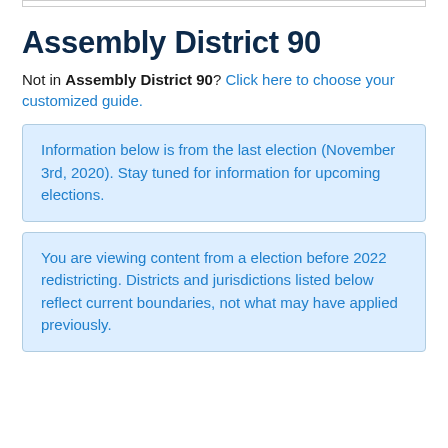Assembly District 90
Not in Assembly District 90? Click here to choose your customized guide.
Information below is from the last election (November 3rd, 2020). Stay tuned for information for upcoming elections.
You are viewing content from a election before 2022 redistricting. Districts and jurisdictions listed below reflect current boundaries, not what may have applied previously.